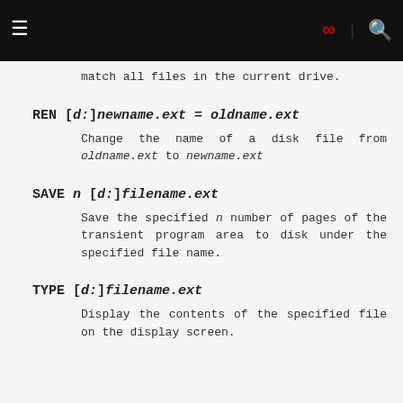≡  ∞  🔍
match all files in the current drive.
REN [d:]newname.ext = oldname.ext
Change the name of a disk file from oldname.ext to newname.ext
SAVE n [d:]filename.ext
Save the specified n number of pages of the transient program area to disk under the specified file name.
TYPE [d:]filename.ext
Display the contents of the specified file on the display screen.